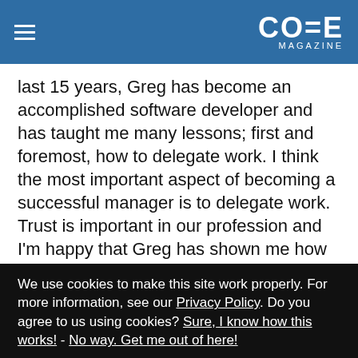CODE MAGAZINE
last 15 years, Greg has become an accomplished software developer and has taught me many lessons; first and foremost, how to delegate work. I think the most important aspect of becoming a successful manager is to delegate work. Trust is important in our profession and I'm happy that Greg has shown me how to trust in others' judgment. Along with this, Greg has taught me many important lessons on how to teach other developers as well as an understanding the needs of other people.
We use cookies to make this site work properly. For more information, see our Privacy Policy. Do you agree to us using cookies? Sure, I know how this works! - No way. Get me out of here!